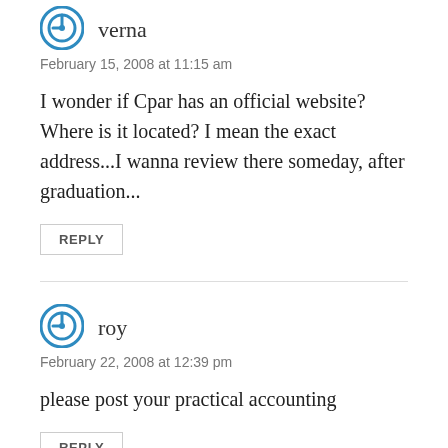verna
February 15, 2008 at 11:15 am
I wonder if Cpar has an official website? Where is it located? I mean the exact address...I wanna review there someday, after graduation...
REPLY
roy
February 22, 2008 at 12:39 pm
please post your practical accounting
REPLY
roy